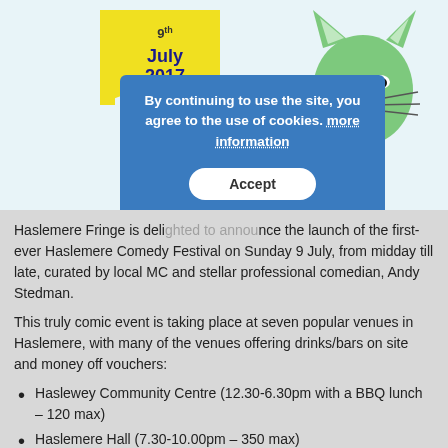[Figure (illustration): Website screenshot showing a banner with '9th July 2017' on a yellow flag shape and a green cartoon cat illustration on the right, with a blue cookie consent overlay dialog saying 'By continuing to use the site, you agree to the use of cookies. more information' and an Accept button.]
Haslemere Fringe is delighted to announce the launch of the first-ever Haslemere Comedy Festival on Sunday 9 July, from midday till late, curated by local MC and stellar professional comedian, Andy Stedman.
This truly comic event is taking place at seven popular venues in Haslemere, with many of the venues offering drinks/bars on site and money off vouchers:
Haslewey Community Centre (12.30-6.30pm with a BBQ lunch – 120 max)
Haslemere Hall (7.30-10.00pm – 350 max)
Dylan's Ice Cream Parlour – Family friendly and a wide range of FREE and fantastic Children's